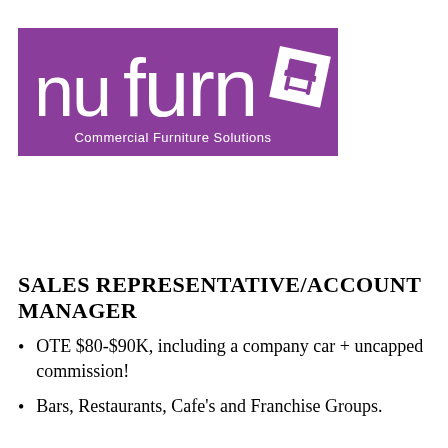[Figure (logo): Nufurn Commercial Furniture Solutions logo — purple rectangle background with white lowercase text 'nufurn', a white chair icon in a tilted white square on the right, and the tagline 'Commercial Furniture Solutions' in white text below]
SALES REPRESENTATIVE/ACCOUNT MANAGER
OTE $80-$90K, including a company car + uncapped commission!
Bars, Restaurants, Cafe's and Franchise Groups.